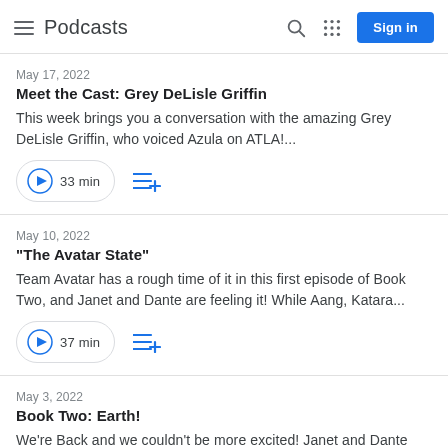Podcasts
May 17, 2022
Meet the Cast: Grey DeLisle Griffin
This week brings you a conversation with the amazing Grey DeLisle Griffin, who voiced Azula on ATLA!...
33 min
May 10, 2022
"The Avatar State"
Team Avatar has a rough time of it in this first episode of Book Two, and Janet and Dante are feeling it! While Aang, Katara...
37 min
May 3, 2022
Book Two: Earth!
We're Back and we couldn't be more excited! Janet and Dante